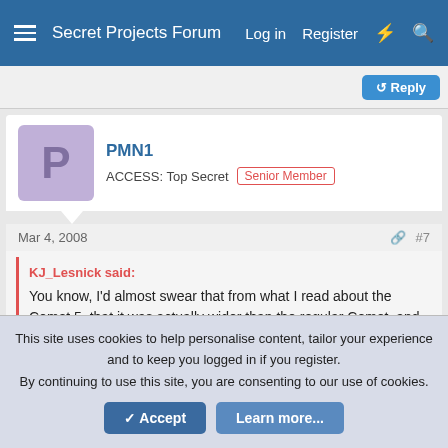Secret Projects Forum   Log in   Register
Reply
PMN1
ACCESS: Top Secret   Senior Member
Mar 4, 2008   #7
KJ_Lesnick said:
You know, I'd almost swear that from what I read about the Comet 5, that it was actually wider than the regular Comet, and had pod-mounted engines. Is this something else?
That was the De Havilland 118 with 6 abreast seating for up to
This site uses cookies to help personalise content, tailor your experience and to keep you logged in if you register.
By continuing to use this site, you are consenting to our use of cookies.
Accept   Learn more...